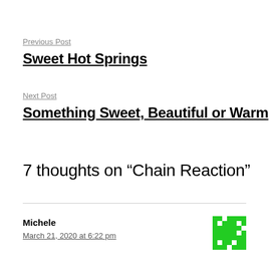Previous Post
Sweet Hot Springs
Next Post
Something Sweet, Beautiful or Warm
7 thoughts on “Chain Reaction”
Michele
March 21, 2020 at 6:22 pm